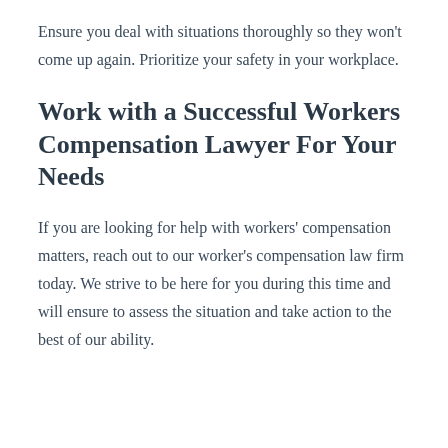Ensure you deal with situations thoroughly so they won't come up again. Prioritize your safety in your workplace.
Work with a Successful Workers Compensation Lawyer For Your Needs
If you are looking for help with workers' compensation matters, reach out to our worker's compensation law firm today. We strive to be here for you during this time and will ensure to assess the situation and take action to the best of our ability.